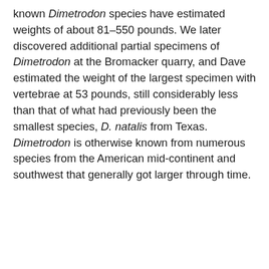known Dimetrodon species have estimated weights of about 81–550 pounds. We later discovered additional partial specimens of Dimetrodon at the Bromacker quarry, and Dave estimated the weight of the largest specimen with vertebrae at 53 pounds, still considerably less than that of what had previously been the smallest species, D. natalis from Texas. Dimetrodon is otherwise known from numerous species from the American mid-continent and southwest that generally got larger through time.